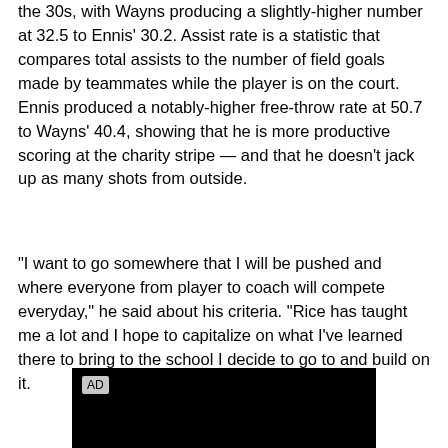the 30s, with Wayns producing a slightly-higher number at 32.5 to Ennis' 30.2. Assist rate is a statistic that compares total assists to the number of field goals made by teammates while the player is on the court. Ennis produced a notably-higher free-throw rate at 50.7 to Wayns' 40.4, showing that he is more productive scoring at the charity stripe — and that he doesn't jack up as many shots from outside.
"I want to go somewhere that I will be pushed and where everyone from player to coach will compete everyday," he said about his criteria. "Rice has taught me a lot and I hope to capitalize on what I've learned there to bring to the school I decide to go to and build on it.
[Figure (other): Black advertisement box with 'AD' label in gray badge at top-left]